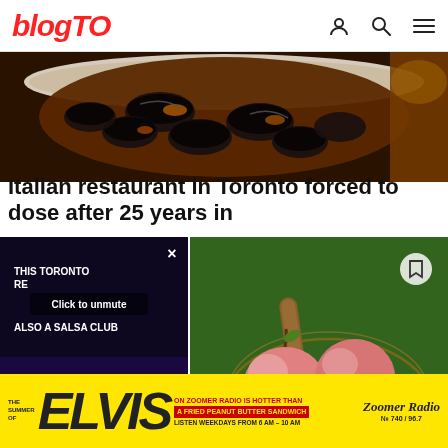blogTO
[Figure (photo): Close-up photo of mussels in a white bowl with broth]
Italian restaurant in Toronto forced to dose after 25 years in
[Figure (screenshot): Video overlay showing a Toronto restaurant that is also a salsa club, with dancers on a lit stage. Has 'Click to unmute' button, close X, and pause button.]
[Figure (photo): Apples in a wire basket on grass, with a wooden handle visible]
[Figure (other): Advertisement banner: The Summer of ELVIS on Zoomer Radio is hotter than a fried peanut butter sandwich. Listen weekdays from 6 AM - 10 AM. Zoomer Radio 740 / 96.7]